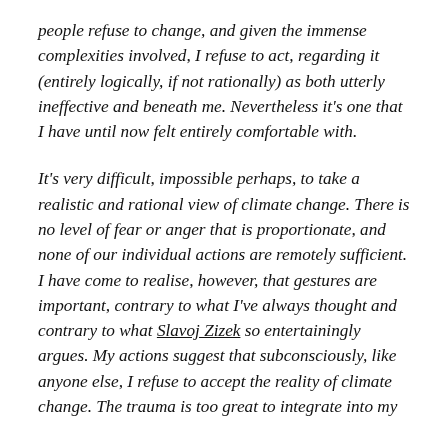people refuse to change, and given the immense complexities involved, I refuse to act, regarding it (entirely logically, if not rationally) as both utterly ineffective and beneath me. Nevertheless it's one that I have until now felt entirely comfortable with.
It's very difficult, impossible perhaps, to take a realistic and rational view of climate change. There is no level of fear or anger that is proportionate, and none of our individual actions are remotely sufficient. I have come to realise, however, that gestures are important, contrary to what I've always thought and contrary to what Slavoj Zizek so entertainingly argues. My actions suggest that subconsciously, like anyone else, I refuse to accept the reality of climate change. The trauma is too great to integrate into my